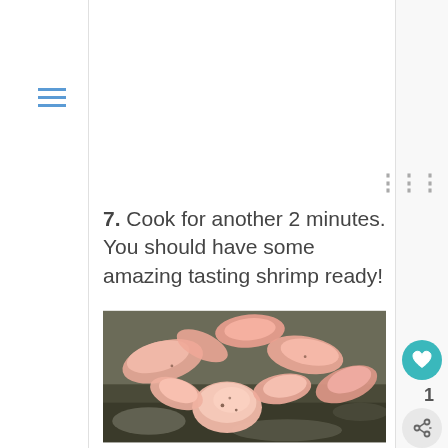7. Cook for another 2 minutes. You should have some amazing tasting shrimp ready!
[Figure (photo): Close-up photo of cooked pink shrimp piled on foil, with seasoning visible]